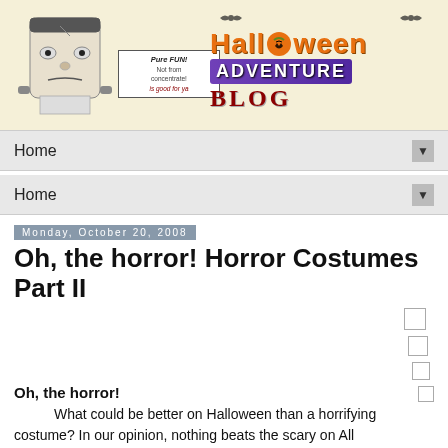[Figure (logo): Halloween Adventure Blog banner with Frankenstein illustration, speech bubble saying 'Pure FUN! Not from concentrate! is good for ya', and colorful Halloween Adventure Blog logo with pumpkin, bats, and purple ribbon]
Home ▼
Home ▼
Monday, October 20, 2008
Oh, the horror! Horror Costumes Part II
Oh, the horror!
What could be better on Halloween than a horrifying costume? In our opinion, nothing beats the scary on All